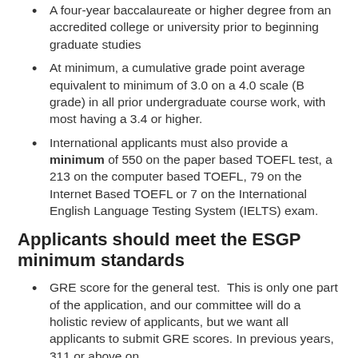A four-year baccalaureate or higher degree from an accredited college or university prior to beginning graduate studies
At minimum, a cumulative grade point average equivalent to minimum of 3.0 on a 4.0 scale (B grade) in all prior undergraduate course work, with most having a 3.4 or higher.
International applicants must also provide a minimum of 550 on the paper based TOEFL test, a 213 on the computer based TOEFL, 79 on the Internet Based TOEFL or 7 on the International English Language Testing System (IELTS) exam.
Applicants should meet the ESGP minimum standards
GRE score for the general test.  This is only one part of the application, and our committee will do a holistic review of applicants, but we want all applicants to submit GRE scores. In previous years, 311 or above on